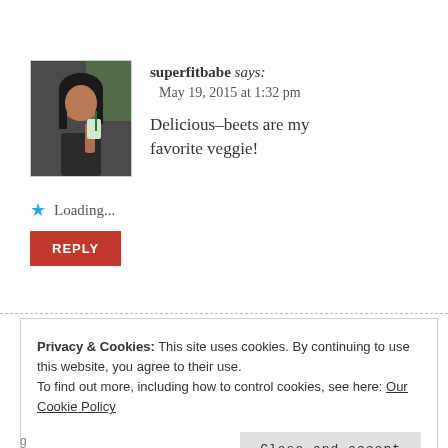[Figure (photo): Avatar photo of a woman holding a drink, dark hair, with green background elements]
superfitbabe says:
May 19, 2015 at 1:32 pm

Delicious–beets are my favorite veggie!
Loading...
REPLY
Privacy & Cookies: This site uses cookies. By continuing to use this website, you agree to their use.
To find out more, including how to control cookies, see here: Our Cookie Policy
Close and accept